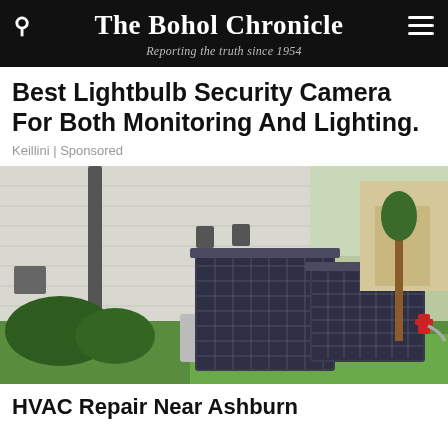The Bohol Chronicle
Reporting the truth since 1954
Best Lightbulb Security Camera For Both Monitoring And Lighting.
Keillini | Sponsored
[Figure (photo): Outdoor HVAC air conditioning units on a concrete pad beside a white brick house, with green grass lawn and residential neighborhood in background]
HVAC Repair Near Ashburn